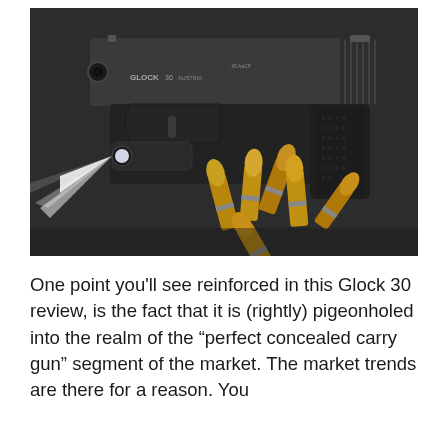[Figure (photo): A Glock 30 pistol in .45 ACP caliber with a tactical light/laser attachment, shown on a dark textured surface alongside several loose brass-cased pistol cartridges. The light is activated, casting a bright white beam to the left.]
One point you'll see reinforced in this Glock 30 review, is the fact that it is (rightly) pigeonholed into the realm of the “perfect concealed carry gun” segment of the market. The market trends are there for a reason. You